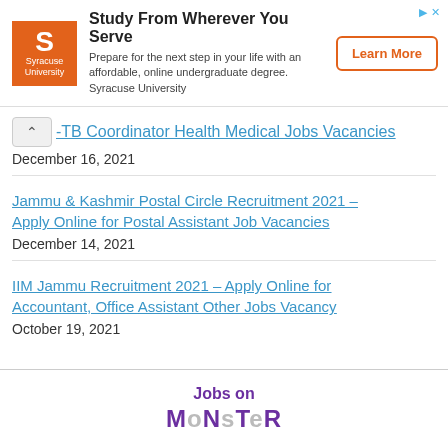[Figure (other): Syracuse University advertisement banner with orange logo, headline 'Study From Wherever You Serve', subtext about affordable online undergraduate degree, and 'Learn More' button]
-TB Coordinator Health Medical Jobs Vacancies
December 16, 2021
Jammu & Kashmir Postal Circle Recruitment 2021 – Apply Online for Postal Assistant Job Vacancies
December 14, 2021
IIM Jammu Recruitment 2021 – Apply Online for Accountant, Office Assistant Other Jobs Vacancy
October 19, 2021
[Figure (other): Jobs on Monster advertisement banner at the bottom of the page]